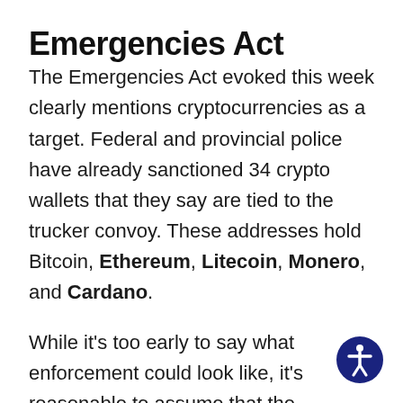Emergencies Act
The Emergencies Act evoked this week clearly mentions cryptocurrencies as a target. Federal and provincial police have already sanctioned 34 crypto wallets that they say are tied to the trucker convoy. These addresses hold Bitcoin, Ethereum, Litecoin, Monero, and Cardano.
While it’s too early to say what enforcement could look like, it’s reasonable to assume that the government may be monitoring every transaction these addresses are involved in. Regulated financial firms have already been instructed not to interact with these addresses. That could